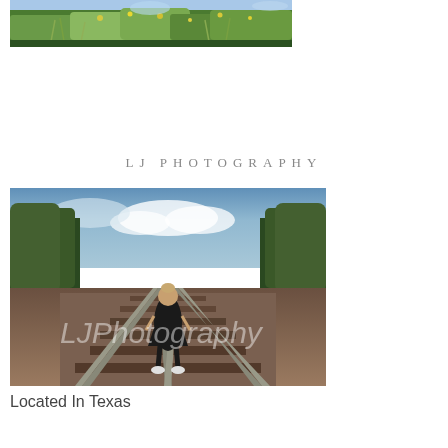[Figure (photo): Outdoor nature photo showing green grass, wildflowers (yellow blooms), and lush vegetation against a light sky background]
LJ PHOTOGRAPHY
[Figure (photo): A girl wearing a black dress and white sneakers walking on railroad tracks, flanked by green trees on both sides with a partly cloudy sky. A watermark reading 'LJPhotography' is overlaid in white text.]
Located In Texas